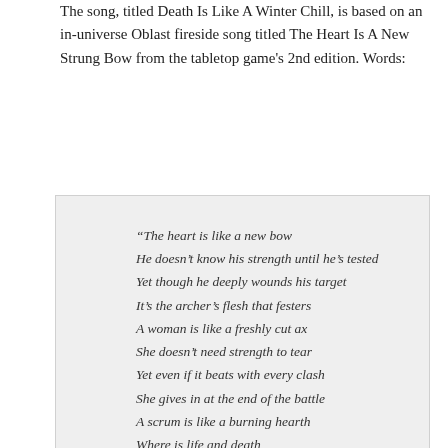The song, titled Death Is Like A Winter Chill, is based on an in-universe Oblast fireside song titled The Heart Is A New Strung Bow from the tabletop game's 2nd edition. Words:
“The heart is like a new bow
He doesn’t know his strength until he’s tested
Yet though he deeply wounds his target
It’s the archer’s flesh that festers
A woman is like a freshly cut ax
She doesn’t need strength to tear
Yet even if it beats with every clash
She gives in at the end of the battle
A scrum is like a burning hearth
Where is life and death
Our enemies driven back by fear
Our hearts with brothers bound
Death is like winter cold
No door can prevent us